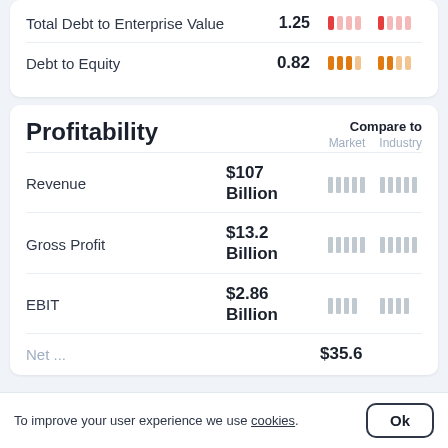| Metric | Value | Market | Industry |
| --- | --- | --- | --- |
| Total Debt to Enterprise Value | 1.25 | [red bars] | [red bars] |
| Debt to Equity | 0.82 | [orange bars] | [orange bars] |
Profitability
Compare to
Market   Industry
| Metric | Value | Market | Industry |
| --- | --- | --- | --- |
| Revenue | $107 Billion | [gray bars] | [gray bars] |
| Gross Profit | $13.2 Billion | [gray bars] | [gray bars] |
| EBIT | $2.86 Billion | [gray bars] | [gray bars] |
| Net ... | $35.6 | [gray bars] | [gray bars] |
To improve your user experience we use cookies.